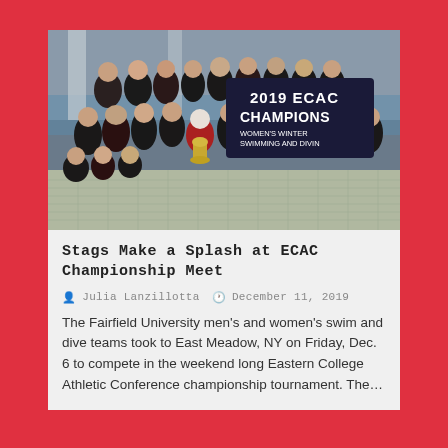[Figure (photo): Group photo of Fairfield University swim and dive team holding a '2019 ECAC Champions Women's Winter Swimming and Diving' banner, posing indoors at a pool facility.]
Stags Make a Splash at ECAC Championship Meet
Julia Lanzillotta   December 11, 2019
The Fairfield University men's and women's swim and dive teams took to East Meadow, NY on Friday, Dec. 6 to compete in the weekend long Eastern College Athletic Conference championship tournament. The…